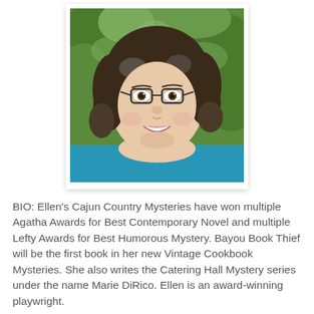[Figure (photo): Headshot of a smiling woman with dark curly hair and glasses, wearing a teal/blue top, photographed outdoors in front of green foliage. Photo is displayed in a white frame with drop shadow.]
BIO: Ellen's Cajun Country Mysteries have won multiple Agatha Awards for Best Contemporary Novel and multiple Lefty Awards for Best Humorous Mystery. Bayou Book Thief will be the first book in her new Vintage Cookbook Mysteries. She also writes the Catering Hall Mystery series under the name Marie DiRico. Ellen is an award-winning playwright.